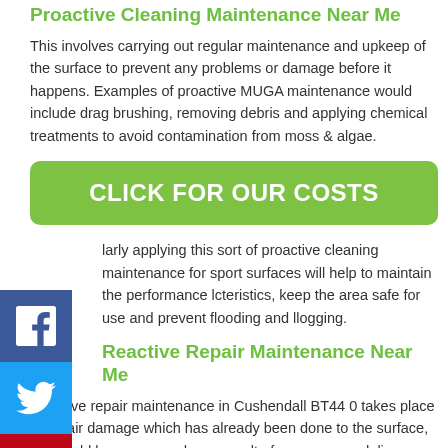Proactive Cleaning Maintenance Near Me
This involves carrying out regular maintenance and upkeep of the surface to prevent any problems or damage before it happens. Examples of proactive MUGA maintenance would include drag brushing, removing debris and applying chemical treatments to avoid contamination from moss & algae.
[Figure (other): Green button with white bold text: CLICK FOR OUR COSTS]
larly applying this sort of proactive cleaning maintenance for sport surfaces will help to maintain the performance lcteristics, keep the area safe for use and prevent flooding and llogging.
Reactive Repair Maintenance Near Me
Reactive repair maintenance in Cushendall BT44 0 takes place to repair damage which has already been done to the surface, this could have occurred as a result of overuse, vandalism or lack of an appropriate proactive care programme. Examples of reactive servicing can include seam and joint repairs, repainting and reline